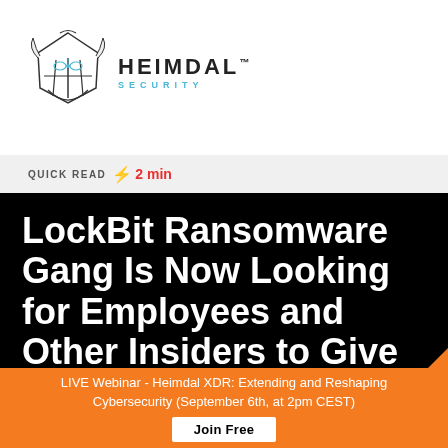[Figure (logo): Heimdal Security logo — a stylized viking helmet illustration on the left, and 'HEIMDAL™ SECURITY' text in dark and cyan lettering on the right]
QUICK READ ⚡ 2 min
LockBit Ransomware Gang Is Now Looking for Employees and Other Insiders to Give Them Access to Corporate Networks
LIVE Webinar - Heimdal XDR: Extending and Reshaping Cybersecurity (September 6th, at 2pm CEST)
Join Free